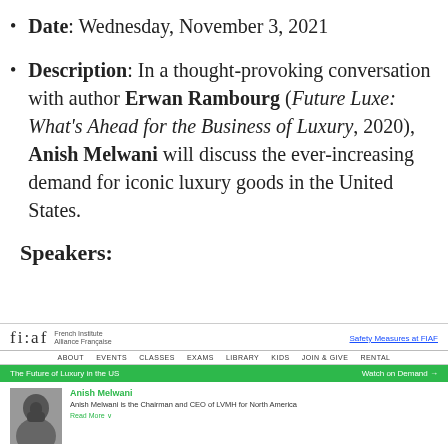Date: Wednesday, November 3, 2021
Description: In a thought-provoking conversation with author Erwan Rambourg (Future Luxe: What's Ahead for the Business of Luxury, 2020), Anish Melwani will discuss the ever-increasing demand for iconic luxury goods in the United States.
Speakers:
[Figure (screenshot): Screenshot of the FIAF (French Institute Alliance Française) website showing the event page 'The Future of Luxury in the US' with a green banner, navigation menu, and speaker profile for Anish Melwani, Chairman and CEO of LVMH for North America.]